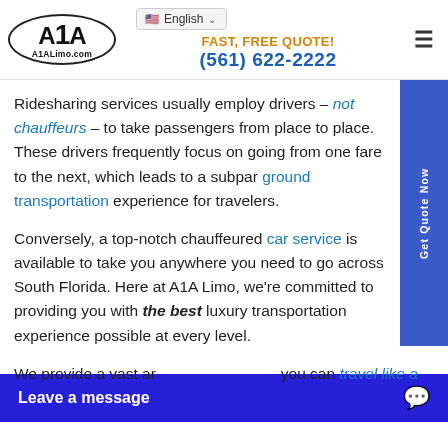[Figure (logo): A1A Limo.com logo in an oval border]
FAST, FREE QUOTE! (561) 622-2222
Ridesharing services usually employ drivers – not chauffeurs – to take passengers from place to place. These drivers frequently focus on going from one fare to the next, which leads to a subpar ground transportation experience for travelers.
Conversely, a top-notch chauffeured car service is available to take you anywhere you need to go across South Florida. Here at A1A Limo, we're committed to providing you with the best luxury transportation experience possible at every level.
We provide a vast array of services so you can travel like a ...
Leave a message